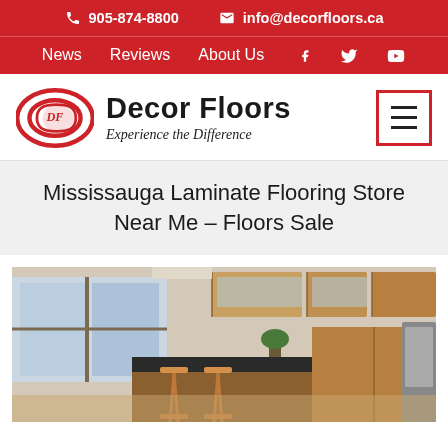905-874-8800   info@decorfloors.ca
News   Reviews   About Us
[Figure (logo): Decor Floors logo with red oval and tagline 'Experience the Difference']
Mississauga Laminate Flooring Store Near Me – Floors Sale
[Figure (photo): Interior kitchen photo with wood cabinets, large windows, dark countertop island with bar stools, and laminate flooring]